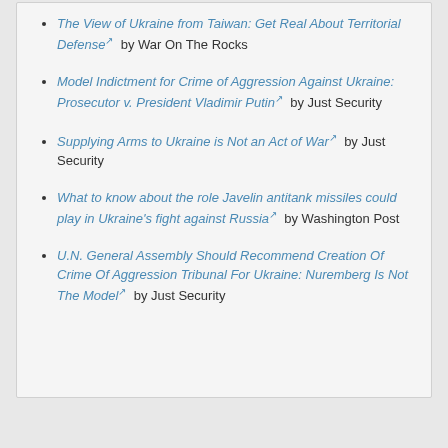The View of Ukraine from Taiwan: Get Real About Territorial Defense [ext] by War On The Rocks
Model Indictment for Crime of Aggression Against Ukraine: Prosecutor v. President Vladimir Putin [ext] by Just Security
Supplying Arms to Ukraine is Not an Act of War [ext] by Just Security
What to know about the role Javelin antitank missiles could play in Ukraine's fight against Russia [ext] by Washington Post
U.N. General Assembly Should Recommend Creation Of Crime Of Aggression Tribunal For Ukraine: Nuremberg Is Not The Model [ext] by Just Security